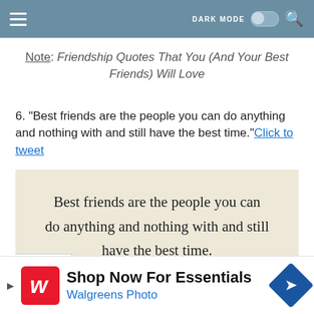DARK MODE
Note: Friendship Quotes That You (And Your Best Friends) Will Love
6. "Best friends are the people you can do anything and nothing with and still have the best time." Click to tweet
[Figure (illustration): Beige/cream colored quote card with cursive text: 'Best friends are the people you can do anything and nothing with and still have the best time.']
Shop Now For Essentials
Walgreens Photo